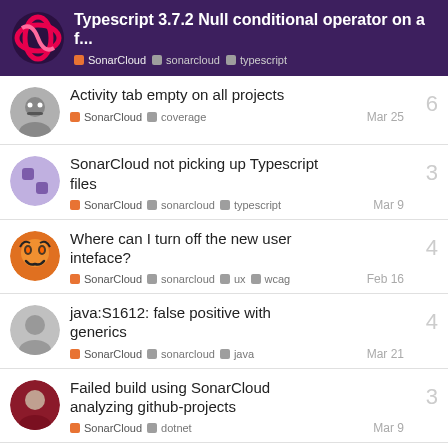Typescript 3.7.2 Null conditional operator on a f...
Activity tab empty on all projects | SonarCloud coverage | Mar 25 | 6 replies
SonarCloud not picking up Typescript files | SonarCloud sonarcloud typescript | Mar 9 | 3 replies
Where can I turn off the new user inteface? | SonarCloud sonarcloud ux wcag | Feb 16 | 4 replies
java:S1612: false positive with generics | SonarCloud sonarcloud java | Mar 21 | 4 replies
Failed build using SonarCloud analyzing github-projects | SonarCloud dotnet | Mar 9 | 3 replies